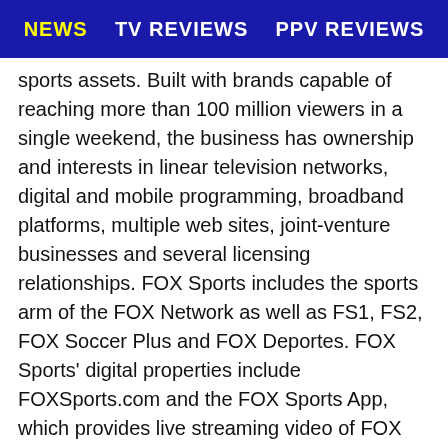NEWS | TV REVIEWS | PPV REVIEWS
sports assets. Built with brands capable of reaching more than 100 million viewers in a single weekend, the business has ownership and interests in linear television networks, digital and mobile programming, broadband platforms, multiple web sites, joint-venture businesses and several licensing relationships. FOX Sports includes the sports arm of the FOX Network as well as FS1, FS2, FOX Soccer Plus and FOX Deportes. FOX Sports' digital properties include FOXSports.com and the FOX Sports App, which provides live streaming video of FOX Sports content, instant scores, stats and alerts to iOS and Android devices. Additionally, FOX Sports and social broadcasting platform, Caffeine, jointly own Caffeine Studios which creates exclusive eSports, sports and live entertainment content. Also included in FOX Sports' portfolio are FOX's interests in joint venture